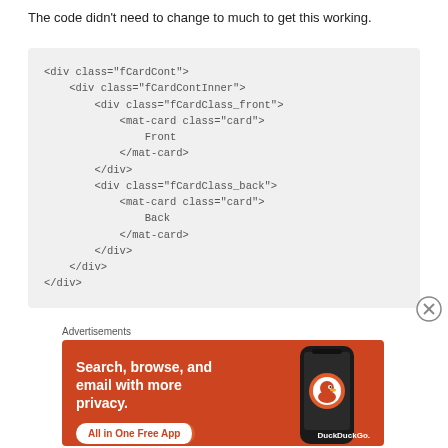The code didn't need to change to much to get this working.
<div class="fCardCont">
    <div class="fCardContInner">
        <div class="fCardClass_front">
            <mat-card class="card">
                Front
            </mat-card>
        </div>
        <div class="fCardClass_back">
            <mat-card class="card">
                Back
            </mat-card>
        </div>
    </div>
</div>
Advertisements
[Figure (infographic): DuckDuckGo advertisement banner with orange background. Text reads 'Search, browse, and email with more privacy.' with 'All in One Free App' button and DuckDuckGo logo on a phone graphic.]